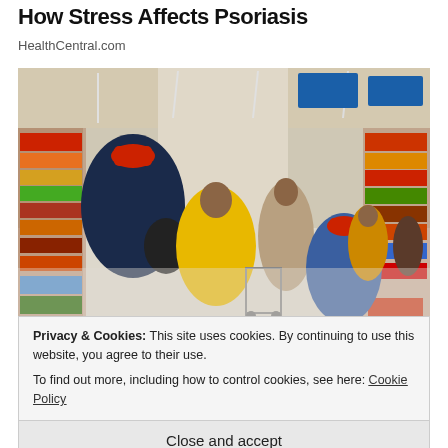How Stress Affects Psoriasis
HealthCentral.com
[Figure (photo): Busy supermarket/grocery store aisle with multiple shoppers pushing carts, viewed from behind. Shoppers are wearing winter coats in various colors including yellow, blue, and red. Store has overhead fluorescent lighting and shelves stocked with merchandise on both sides.]
Privacy & Cookies: This site uses cookies. By continuing to use this website, you agree to their use.
To find out more, including how to control cookies, see here: Cookie Policy
Close and accept